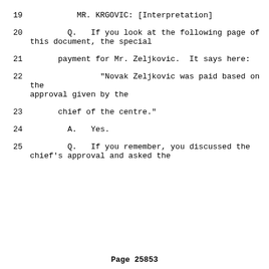19          MR. KRGOVIC: [Interpretation]
20        Q.   If you look at the following page of this document, the special
21      payment for Mr. Zeljkovic.  It says here:
22               "Novak Zeljkovic was paid based on the approval given by the
23      chief of the centre."
24        A.   Yes.
25        Q.   If you remember, you discussed the chief's approval and asked the
Page 25853